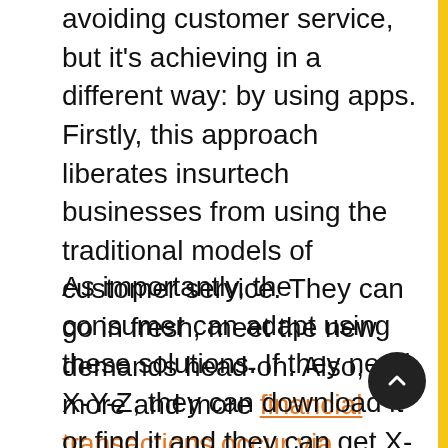avoiding customer service, but it's achieving in a different way: by using apps. Firstly, this approach liberates insurtech businesses from using the traditional models of customer service. They can go in fresh, meet the new demands head-on. Also, more and more financial transactions occur via smartphones. It's quick and it's simple.
As importantly, the consumer can adapt using these solutions. If they need X-Y-Z, they can download it or find it and they can get X-Y-Z. The worry for financial institutions and insurtech businesses is that the consumer will find what best suits them, which means that attaining loyalty might prove somewhat difficult. However, with the younger generations opting for mobile...